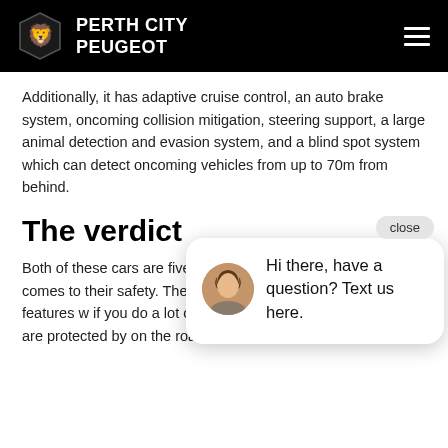PERTH CITY PEUGEOT
Additionally, it has adaptive cruise control, an auto brake system, oncoming collision mitigation, steering support, a large animal detection and evasion system, and a blind spot system which can detect oncoming vehicles from up to 70m from behind.
The verdict
Both of these cars are five star when it comes to their safety. The Volvo safety features w if you do a lot of you will have the are protected by on the road.
Value for money
[Figure (screenshot): Chat widget popup with close button, avatar of a woman, and text: Hi there, have a question? Text us here.]